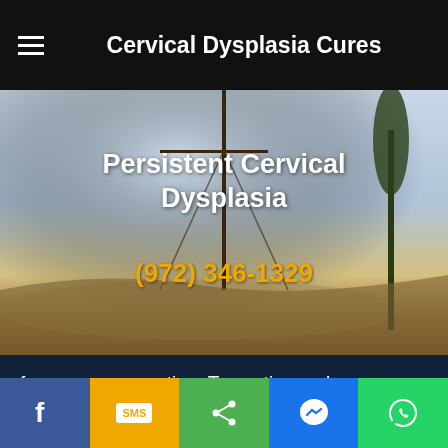Cervical Dysplasia Cures
Persistent Cervical Dysplasia
(972) 346-1329
from your connection. To continue, please confirm that youâ€™re a human (and not a spambot).
[Figure (screenshot): reCAPTCHA widget with checkbox labeled I'm not a robot and reCAPTCHA logo with Privacy and Terms links]